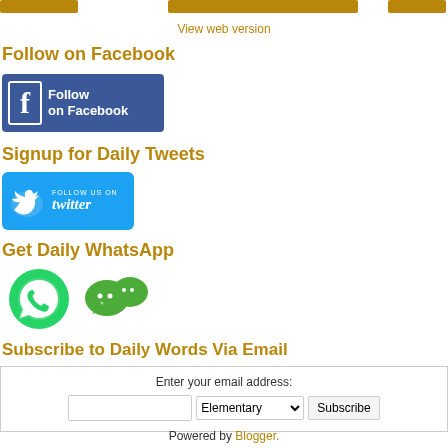[Figure (other): Top navigation bar with three orange/gold rectangular buttons]
View web version
Follow on Facebook
[Figure (logo): Facebook Follow on Facebook button - blue rectangle with white Facebook f logo and text 'Follow on Facebook']
Signup for Daily Tweets
[Figure (logo): Twitter Follow Us On Twitter button - blue with bird icon and twitter text]
Get Daily WhatsApp
[Figure (logo): WhatsApp and WeChat green icons]
Subscribe to Daily Words Via Email
Enter your email address:
Subscribe
Powered by Blogger.